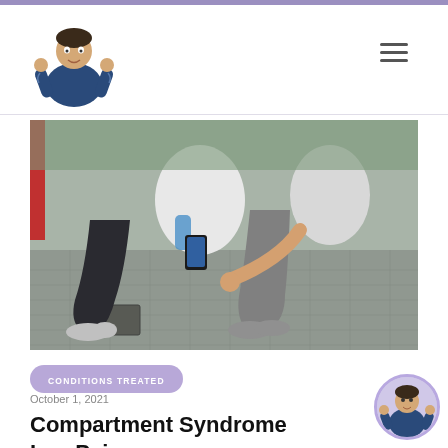[Figure (photo): Two athletes outdoors on paving stones, one crouching pointing at the other's knee/leg, both wearing athletic clothing and sneakers, with a water bottle visible]
CONDITIONS TREATED
October 1, 2021
Compartment Syndrome Leg Pain
[Figure (photo): Small circular thumbnail of a doctor in blue scrubs giving thumbs up]